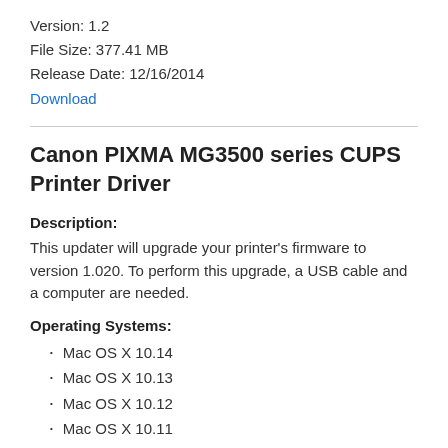Version: 1.2
File Size: 377.41 MB
Release Date: 12/16/2014
Download
Canon PIXMA MG3500 series CUPS Printer Driver
Description:
This updater will upgrade your printer's firmware to version 1.020. To perform this upgrade, a USB cable and a computer are needed.
Operating Systems:
Mac OS X 10.14
Mac OS X 10.13
Mac OS X 10.12
Mac OS X 10.11